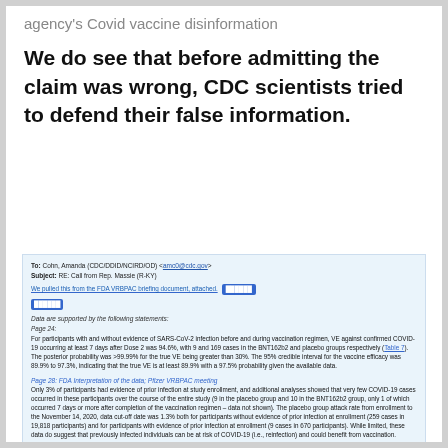agency's Covid vaccine disinformation
We do see that before admitting the claim was wrong, CDC scientists tried to defend their false information.
To: Cohn, Amanda (CDC/DDID/NCIRD/OD) <amc0@cdc.gov>
Subject: RE: Call from Rep. Massie (R-KY)

We pulled this from the FDA VRBPAC briefing document, attached. [REDACTED]
[REDACTED]

Data are supported by the following statements:
Page 24:
For participants with and without evidence of SARS-CoV-2 infection before and during vaccination regimen, VE against confirmed COVID-19 occurring at least 7 days after Dose 2 was 94.6%, with 9 and 169 cases in the BNT162b2 and placebo groups respectively (Table 7). The posterior probability was >99.99% for the true VE being greater than 30%. The 95% credible interval for the vaccine efficacy was 89.9% to 97.3%, indicating that the true VE is at least 89.9% with a 97.5% probability given the available data.

Page 28: FDA Interpretation of the data; Pfizer VRBPAC meeting
Only 3% of participants had evidence of prior infection at study enrollment, and additional analyses showed that very few COVID-19 cases occurred in these participants over the course of the entire study (9 in the placebo group and 10 in the BNT162b2 group, only 1 of which occurred 7 days or more after completion of the vaccination regimen – data not shown). The placebo group attack rate from enrollment to the November 14, 2020, data cut-off date was 1.3% both for participants without evidence of prior infection at enrollment (259 cases in 19,818 participants) and for participants with evidence of prior infection at enrollment (9 cases in 670 participants). While limited, these data do suggest that previously infected individuals can be at risk of COVID-19 (i.e., reinfection) and could benefit from vaccination.

Page 46: FDA Interpretation of the data; Pfizer VRBPAC meeting
Efficacy findings were also consistent across various subgroups, including racial and ethnic minorities, participants aged 55 years and older, and those with one or more of the following conditions: obesity, diabetes, hypertension, and chronic cardiopulmonary diseases. While limited, available data suggest that individuals with previous SARS-CoV-2 infection can be at risk